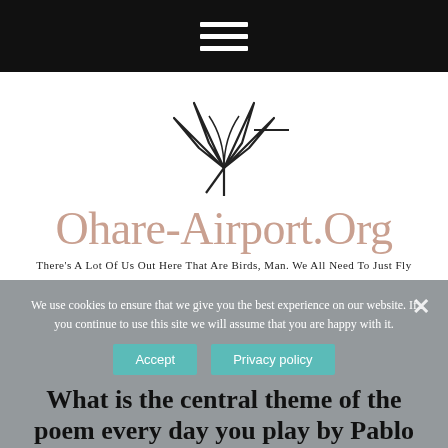Navigation menu (hamburger icon)
[Figure (logo): Ohare-Airport.Org logo with stylized bird/wing SVG graphic, site name in rose/pink serif font, and tagline 'There’s A Lot Of Us Out Here That Are Birds, Man. We All Need To Just Fly']
We use cookies to ensure that we give you the best experience on our website. If you continue to use this site we will assume that you are happy with it.
What is the central theme of the poem every day you play by Pablo